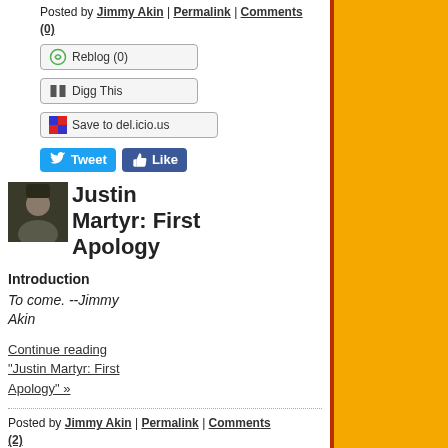Posted by Jimmy Akin | Permalink | Comments (0)
[Figure (screenshot): Social sharing buttons: Reblog (0), Digg This, Save to del.icio.us, Tweet, Like]
Justin Martyr: First Apology
Introduction
To come. --Jimmy Akin
Continue reading "Justin Martyr: First Apology" »
Posted by Jimmy Akin | Permalink | Comments (2)
[Figure (screenshot): Reblog (0) button]